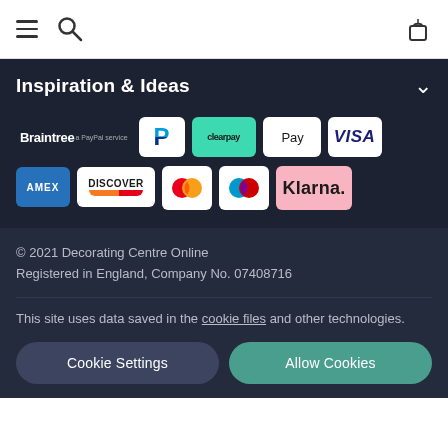Navigation bar with menu, search and bag icons
Inspiration & Ideas
[Figure (logo): Payment provider logos: Braintree, PayPal, Clearpay, Apple Pay, Visa, Amex, Discover, Mastercard, Maestro, Klarna]
© 2021 Decorating Centre Online
Registered in England, Company No. 07408716
This site uses data saved in the cookie files and other technologies.
Cookie Settings | Allow Cookies